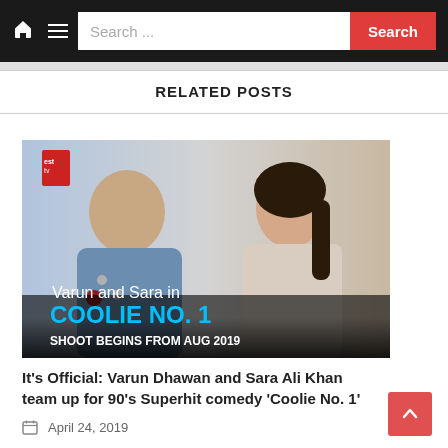Search ... [Search button]
RELATED POSTS
[Figure (photo): Varun Dhawan and Sara Ali Khan promotional image for Coolie No. 1. Text overlay reads: Varun and Sara in COOLIE NO. 1 / SHOOT BEGINS FROM AUG 2019]
It's Official: Varun Dhawan and Sara Ali Khan team up for 90's Superhit comedy 'Coolie No. 1'
April 24, 2019